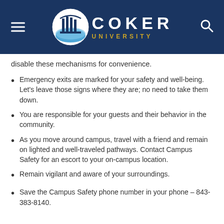Coker University
disable these mechanisms for convenience.
Emergency exits are marked for your safety and well-being. Let's leave those signs where they are; no need to take them down.
You are responsible for your guests and their behavior in the community.
As you move around campus, travel with a friend and remain on lighted and well-traveled pathways. Contact Campus Safety for an escort to your on-campus location.
Remain vigilant and aware of your surroundings.
Save the Campus Safety phone number in your phone – 843-383-8140.